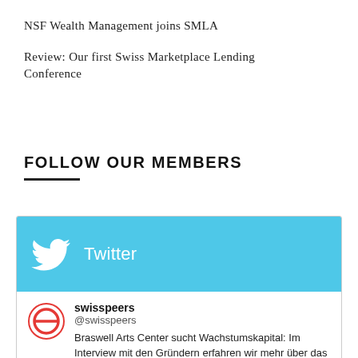NSF Wealth Management joins SMLA
Review: Our first Swiss Marketplace Lending Conference
FOLLOW OUR MEMBERS
[Figure (screenshot): Twitter widget showing a tweet from swisspeers (@swisspeers): 'Braswell Arts Center sucht Wachstumskapital: Im Interview mit den Gründern erfahren wir mehr über das Wachstumsproj… twitter.com/i/web/status/1…' posted 2 hours ago on 02 September 2022]